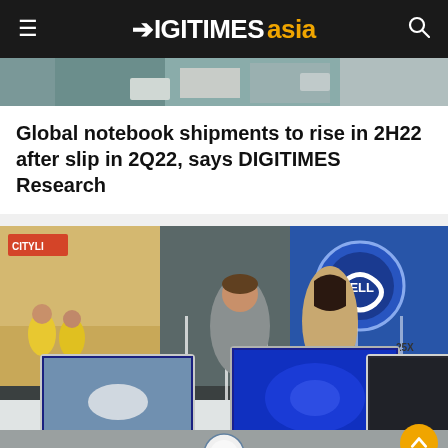DIGITIMES asia
[Figure (photo): Partial cropped photo of laptops/notebooks on display, top strip only]
Global notebook shipments to rise in 2H22 after slip in 2Q22, says DIGITIMES Research
[Figure (photo): Dell laptop store showroom with multiple notebook computers displayed on a counter. Two people wearing masks are examining laptops. A large Dell logo illuminated sign is visible in the background. Dell logo also visible on the counter front. A gold circle back-to-top button is in the lower right corner.]